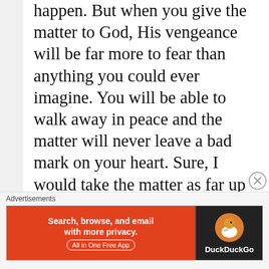happen. But when you give the matter to God, His vengeance will be far more to fear than anything you could ever imagine. You will be able to walk away in peace and the matter will never leave a bad mark on your heart. Sure, I would take the matter as far up the ladder as I could go, but don't be surprised to find that the manager's hatred is the normal culture of the business leadership. In that case, I would let my family and friends know what happened and never set foot in the establishment again. They will either change, or go out of business.
Advertisements
[Figure (screenshot): DuckDuckGo advertisement banner: orange background on left with text 'Search, browse, and email with more privacy. All in One Free App', dark background on right with DuckDuckGo logo and name.]